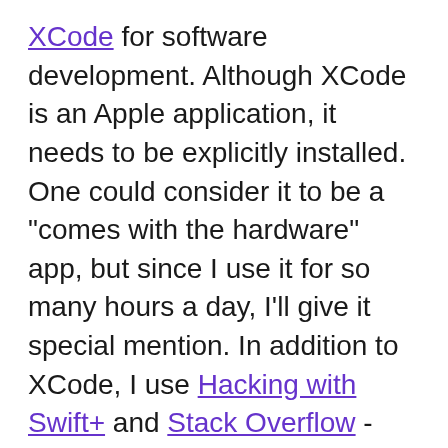XCode for software development. Although XCode is an Apple application, it needs to be explicitly installed. One could consider it to be a "comes with the hardware" app, but since I use it for so many hours a day, I'll give it special mention. In addition to XCode, I use Hacking with Swift+ and Stack Overflow - which might not be considered software - but they are full of software that I use (with explanations) - so I count them. And as long as we're using an expansive definition of software, I should mention Rossini operas. I have a